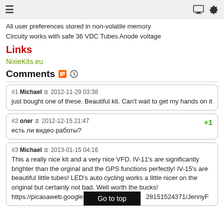≡  [monitor icon]  [gear icon]
All user preferences stored in non-volatile memory
Circuity works with safe 36 VDC Tubes Anode voltage
Links
NixieKits.eu
Comments
#1 Michael 2012-11-29 03:38
just bought one of these. Beautiful kit. Can't wait to get my hands on it
#2 олег 2012-12-15 21:47 +1
есть ли видео работы?
#3 Michael 2013-01-15 04:16
This a really nice kit and a very nice VFD. IV-11's are significantly brighter than the orginal and the GPS functions perfectly! IV-15's are beautiful little tubes! LED's auto cycling works a little nicer on the original but certainly not bad. Well worth the bucks!
https://picasaweb.google.com...28151524371/JennyF